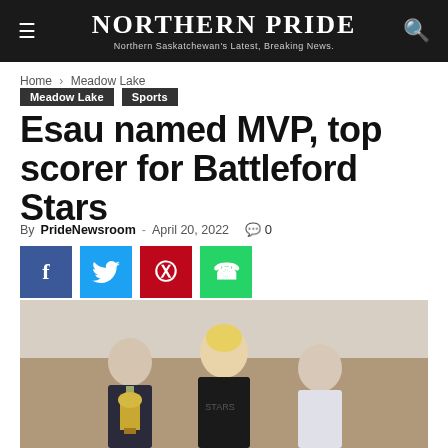NORTHERN PRIDE — Northern Saskatchewan's Latest, Breaking News.
Home › Meadow Lake
Meadow Lake  Sports
Esau named MVP, top scorer for Battleford Stars
By PrideNewsroom - April 20, 2022  0
[Figure (photo): Three men standing together at an awards event; the middle person holds a trophy.]